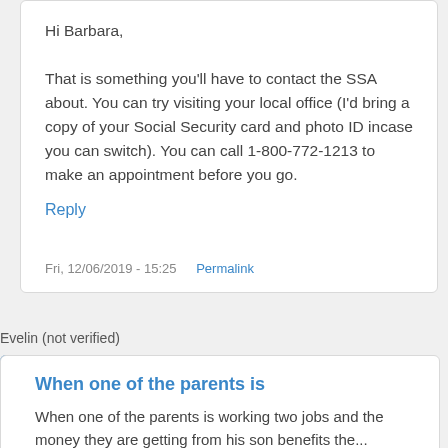Hi Barbara,

That is something you'll have to contact the SSA about. You can try visiting your local office (I'd bring a copy of your Social Security card and photo ID incase you can switch). You can call 1-800-772-1213 to make an appointment before you go.
Reply
Fri, 12/06/2019 - 15:25   Permalink
Evelin (not verified)
When one of the parents is
When one of the parents is working two jobs and the money they are getting from his son benefits the...